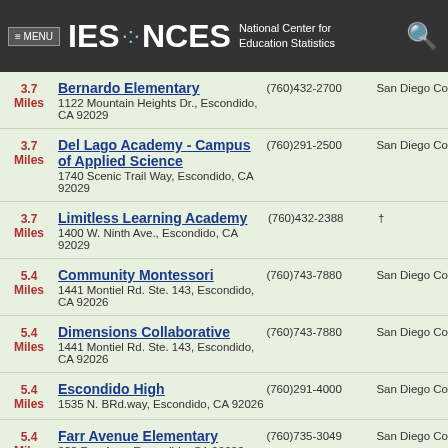≡ MENU  IES · NCES  National Center for Education Statistics
3.7 Miles  Bernardo Elementary  1122 Mountain Heights Dr., Escondido, CA 92029  (760)432-2700  San Diego Co
3.7 Miles  Del Lago Academy - Campus of Applied Science  1740 Scenic Trail Way, Escondido, CA 92029  (760)291-2500  San Diego Co
3.7 Miles  Limitless Learning Academy  1400 W. Ninth Ave., Escondido, CA 92029  (760)432-2388  †
5.4 Miles  Community Montessori  1441 Montiel Rd. Ste. 143, Escondido, CA 92026  (760)743-7880  San Diego Co
5.4 Miles  Dimensions Collaborative  1441 Montiel Rd. Ste. 143, Escondido, CA 92026  (760)743-7880  San Diego Co
5.4 Miles  Escondido High  1535 N. BRd.way, Escondido, CA 92026  (760)291-4000  San Diego Co
5.4 Miles  Farr Avenue Elementary  933 Farr Ave., Escondido, CA 92026  (760)735-3049  San Diego Co
5.4 Miles  Lincoln Elementary  1029 N. BRd.way, Escondido, CA 92026  (760)432-2466  San Diego Co